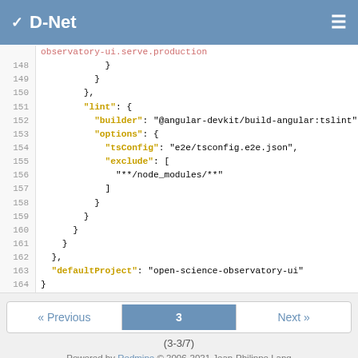D-Net
[Figure (screenshot): Code viewer showing JSON configuration lines 148-164 with syntax highlighting. Keys in gold/yellow, strings in dark gray, punctuation in dark gray. Line numbers on left.]
« Previous   3   Next »
(3-3/7)
Powered by Redmine © 2006-2021 Jean-Philippe Lang